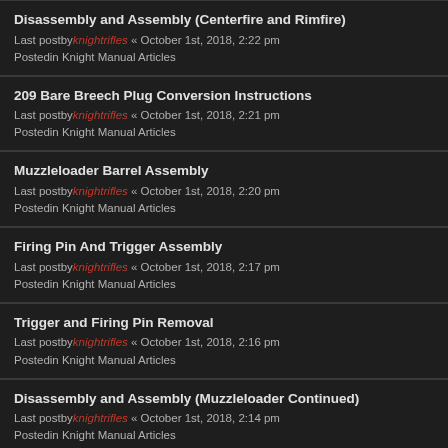Disassembly and Assembly (Centerfire and Rimfire)
Last postby knightrifles « October 1st, 2018, 2:22 pm
Postedin Knight Manual Articles
209 Bare Breech Plug Conversion Instructions
Last postby knightrifles « October 1st, 2018, 2:21 pm
Postedin Knight Manual Articles
Muzzleloader Barrel Assembly
Last postby knightrifles « October 1st, 2018, 2:20 pm
Postedin Knight Manual Articles
Firing Pin And Trigger Assembly
Last postby knightrifles « October 1st, 2018, 2:17 pm
Postedin Knight Manual Articles
Trigger and Firing Pin Removal
Last postby knightrifles « October 1st, 2018, 2:16 pm
Postedin Knight Manual Articles
Disassembly and Assembly (Muzzleloader Continued)
Last postby knightrifles « October 1st, 2018, 2:14 pm
Postedin Knight Manual Articles
Muzzleloader Disassembly and Assembly
Last postby knightrifles « October 1st, 2018, 2:10 pm
Postedin Knight Manual Articles
Breech Plugs
Last postby knightrifles « September 27th, 2018, 4:08 pm
Postedin Knight Manual Articles
Muzzleloading Adjustments